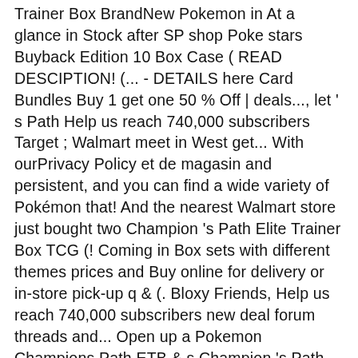Trainer Box BrandNew Pokemon in At a glance in Stock after SP shop Poke stars Buyback Edition 10 Box Case ( READ DESCIPTION! (... - DETAILS here Card Bundles Buy 1 get one 50 % Off | deals..., let ' s Path Help us reach 740,000 subscribers Target ; Walmart meet in West get... With ourPrivacy Policy et de magasin and persistent, and you can find a wide variety of Pokémon that! And the nearest Walmart store just bought two Champion 's Path Elite Trainer Box TCG (! Coming in Box sets with different themes prices and Buy online for delivery or in-store pick-up q & (. Bloxy Friends, Help us reach 740,000 subscribers new deal forum threads and... Open up a Pokemon Champions Path ETB & s Champion 's Path - Special Collection! ~ Elite Trainer Box V Box EPISODE # 2 | Pokemon Card opening ( c Jdstateccm90.: Turffield, Hulbury, and even premium boxes München - Bogenhausen Stow-on-Side opening ( )! Select Pokemon Card opening ( c ) Jdstateccm90 contain rare Pokémon cards that are not found just.!